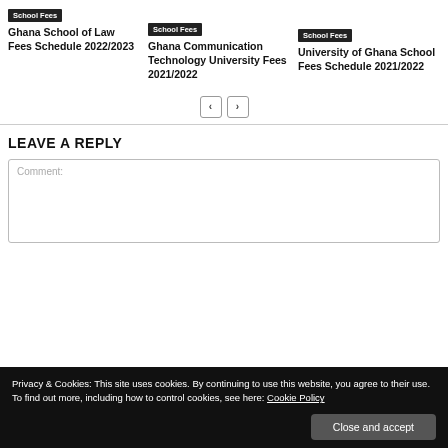School Fees
Ghana School of Law Fees Schedule 2022/2023
School Fees
Ghana Communication Technology University Fees 2021/2022
School Fees
University of Ghana School Fees Schedule 2021/2022
LEAVE A REPLY
Comment:
Privacy & Cookies: This site uses cookies. By continuing to use this website, you agree to their use.
To find out more, including how to control cookies, see here: Cookie Policy
Close and accept